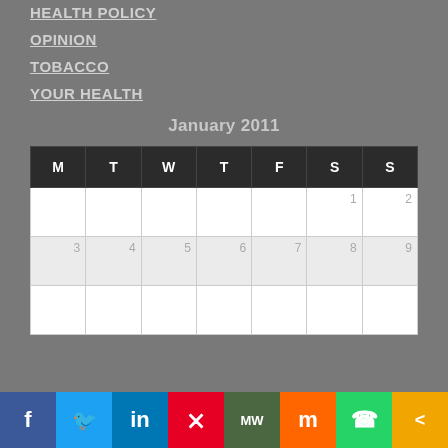HEALTH POLICY
OPINION
TOBACCO
YOUR HEALTH
January 2011
| M | T | W | T | F | S | S |
| --- | --- | --- | --- | --- | --- | --- |
|  |  |  |  |  | 1 | 2 |
| 3 | 4 | 5 | 6 | 7 | 8 | 9 |
|  |  |  |  |  |  |  |
Facebook | Twitter | LinkedIn | Pinterest | MeWe | Mix | WhatsApp | Share